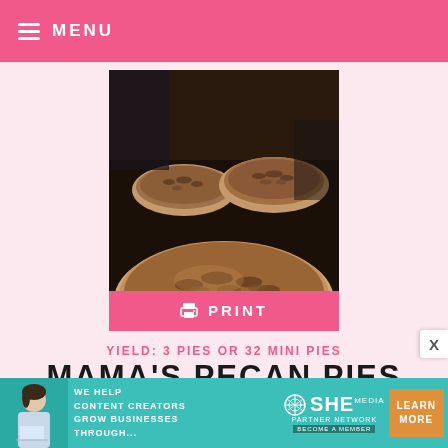MENU
[Figure (photo): Pecan pies lined up in a kitchen, showing close-up of pecan pie filling with pecans]
PRINT
YIELD: 3 PIES OR 32 MINI PIES
MAMA'S PECAN PIES
PREP TIME: 20 MINUTES
COOK TIME: 45 MINUTES
TOTAL TIME: 1 HOUR 5 MINUTES
[Figure (infographic): SHE Partner Network advertisement banner: We help content creators grow businesses through... Learn More]